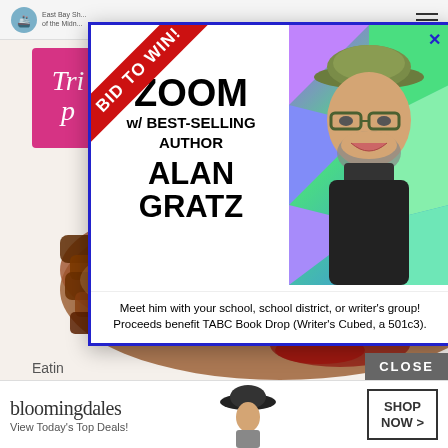[Figure (screenshot): Website page with navigation bar at top showing logo and hamburger menu]
[Figure (photo): BBQ ribs/brisket food photo on white background with red sauce]
[Figure (advertisement): Popup advertisement with red diagonal 'BID TO WIN!' banner, text 'ZOOM w/ BEST-SELLING AUTHOR ALAN GRATZ' on left panel and photo of bearded man with hat and glasses on right panel. Bottom text: 'Meet him with your school, school district, or writer's group! Proceeds benefit TABC Book Drop (Writer's Cubed, a 501c3).']
[Figure (advertisement): Bloomingdale's bottom banner ad with logo, 'View Today's Top Deals!' text, woman in hat photo, and 'SHOP NOW >' button]
Eatin
CLOSE